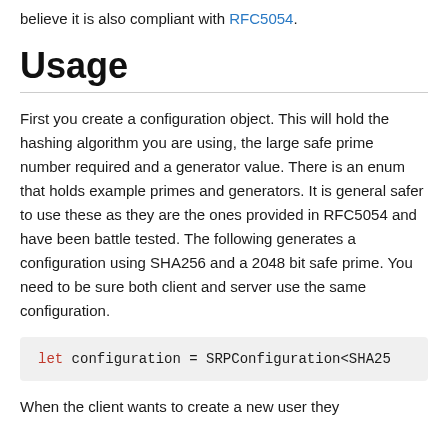believe it is also compliant with RFC5054.
Usage
First you create a configuration object. This will hold the hashing algorithm you are using, the large safe prime number required and a generator value. There is an enum that holds example primes and generators. It is general safer to use these as they are the ones provided in RFC5054 and have been battle tested. The following generates a configuration using SHA256 and a 2048 bit safe prime. You need to be sure both client and server use the same configuration.
let configuration = SRPConfiguration<SHA25
When the client wants to create a new user they